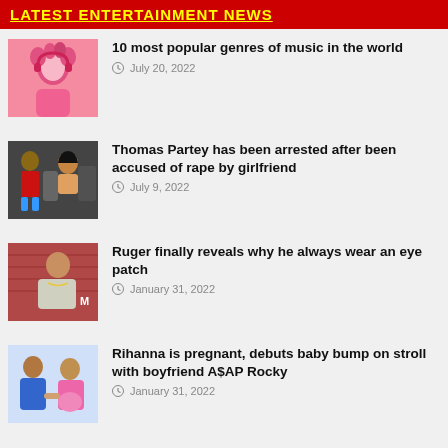LATEST ENTERTAINMENT NEWS
10 most popular genres of music in the world
July 20, 2022
Thomas Partey has been arrested after been accused of rape by girlfriend
July 9, 2022
Ruger finally reveals why he always wear an eye patch
January 31, 2022
Rihanna is pregnant, debuts baby bump on stroll with boyfriend A$AP Rocky
January 31, 2022